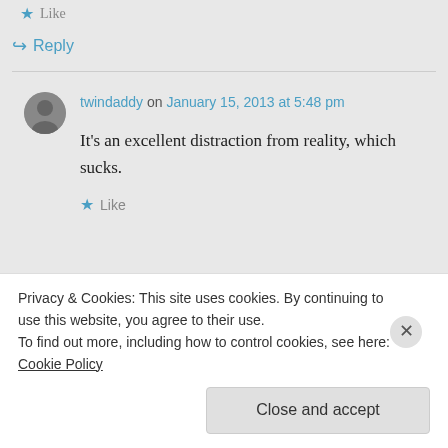Like
↪ Reply
twindaddy on January 15, 2013 at 5:48 pm
It's an excellent distraction from reality, which sucks.
Like
Privacy & Cookies: This site uses cookies. By continuing to use this website, you agree to their use. To find out more, including how to control cookies, see here: Cookie Policy